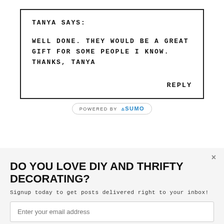TANYA SAYS:
WELL DONE. THEY WOULD BE A GREAT GIFT FOR SOME PEOPLE I KNOW. THANKS, TANYA
REPLY
[Figure (logo): Powered by Sumo badge]
DO YOU LOVE DIY AND THRIFTY DECORATING?
Signup today to get posts delivered right to your inbox!
Enter your email address
Subscribe Now